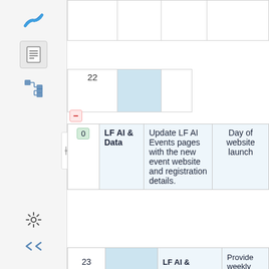[Figure (screenshot): Confluence-like web application sidebar with icons: logo (blue X), document, tree/hierarchy, settings gear, and expand arrows. A vertical collapse handle is visible on the right edge of the sidebar.]
|  |  |  |  |
| 22 |  |  |  |
| # | Assignee | Task | When |
| --- | --- | --- | --- |
| 0 | LF AI & Data | Update LF AI Events pages with the new event website and registration details. | Day of website launch |
| 23 |  | LF AI & | Provide weekly |